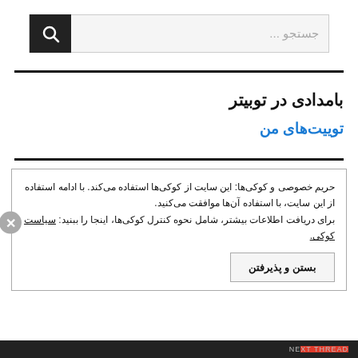[Figure (screenshot): Search bar with magnifying glass icon on the right and placeholder text 'جستجو ...' in Farsi/Persian]
بامدادی در توبیتر
توییت‌های من
حریم خصوصی و کوکی‌ها: این سایت از کوکی‌ها استفاده می‌کند. با ادامه استفاده از این سایت، با استفاده آن‌ها موافقت می‌کنید. برای دریافت اطلاعات بیشتر، شامل نحوه کنترل کوکی‌ها، اینجا را ببنید: سیاست کوکی.
بستن و پذیرفتن